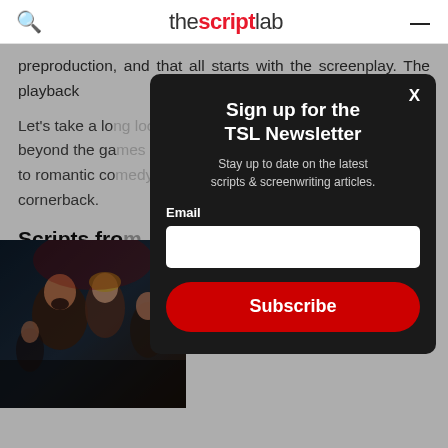the script lab
preproduction, and that all starts with the screenplay. The playback
Let's take a lo... beyond the ga... to romantic co... cornerback.
Scripts fro
[Figure (photo): Movie poster image with dramatic figures]
[Figure (screenshot): Newsletter sign-up popup modal with dark background. Title: Sign up for the TSL Newsletter. Subtitle: Stay up to date on the latest scripts & screenwriting articles. Email field and Subscribe button.]